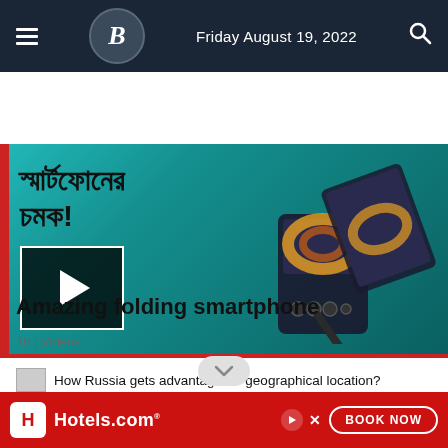Friday August 19, 2022
[Figure (screenshot): Video thumbnail showing a folding smartphone advertisement with Bengali text and a play button overlay]
Amazing folding smartphone
1h | Videos
How Russia gets advantage for geographical location?
[Figure (other): Hotels.com advertisement banner with red background, Hotels.com logo, and BOOK NOW button]